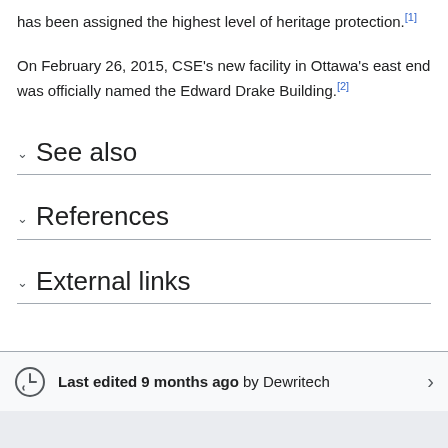has been assigned the highest level of heritage protection.[1]
On February 26, 2015, CSE's new facility in Ottawa's east end was officially named the Edward Drake Building.[2]
See also
References
External links
Last edited 9 months ago by Dewritech